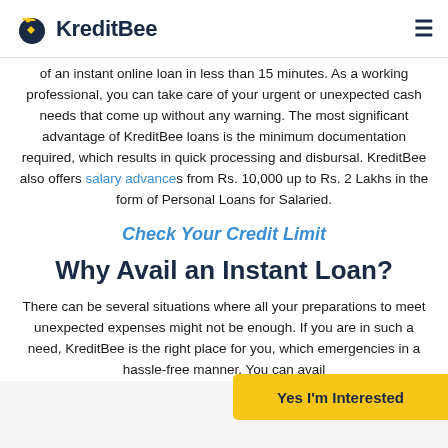KreditBee
of an instant online loan in less than 15 minutes. As a working professional, you can take care of your urgent or unexpected cash needs that come up without any warning. The most significant advantage of KreditBee loans is the minimum documentation required, which results in quick processing and disbursal. KreditBee also offers salary advances from Rs. 10,000 up to Rs. 2 Lakhs in the form of Personal Loans for Salaried.
Check Your Credit Limit
Why Avail an Instant Loan?
There can be several situations where all your preparations to meet unexpected expenses might not be enough. If you are in such a need, KreditBee is the right place for you, which emergencies in a hassle-free manner. You can avail